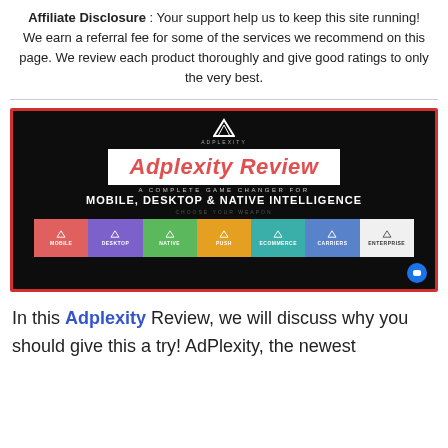Affiliate Disclosure: Your support help us to keep this site running! We earn a referral fee for some of the services we recommend on this page. We review each product thoroughly and give good ratings to only the very best.
[Figure (screenshot): Adplexity promotional banner on dark background with logo, title 'Adplexity Review' in red italic, subtitle 'A COMPLETE GAME CHANGER FOR MOBILE, DESKTOP & NATIVE INTELLIGENCE', and colored category buttons: Mobile, Desktop, Native, Push, Ecommerce, Carriers, Enterprise]
In this Adplexity Review, we will discuss why you should give this a try! AdPlexity, the newest